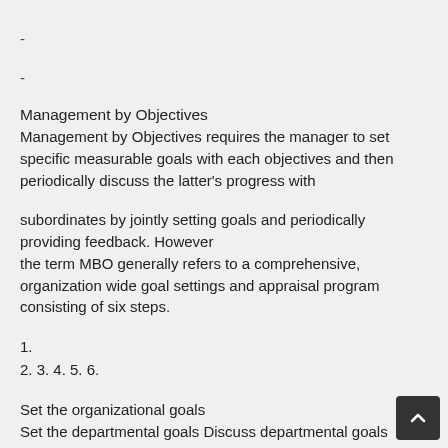-
-
Management by Objectives
Management by Objectives requires the manager to set specific measurable goals with each objectives and then periodically discuss the latter's progress with
subordinates by jointly setting goals and periodically providing feedback. However
the term MBO generally refers to a comprehensive, organization wide goal settings and appraisal program consisting of six steps.
1.
2. 3. 4. 5. 6.
Set the organizational goals
Set the departmental goals Discuss departmental goals Define expected results Performance review Provide feedback